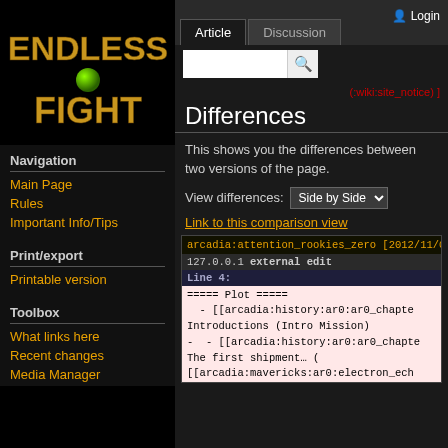[Figure (logo): Endless Fight wiki logo with orange text and green ball]
Navigation
Main Page
Rules
Important Info/Tips
Print/export
Printable version
Toolbox
What links here
Recent changes
Media Manager
Article  Discussion  Login
(:wiki:site_notice) ]
Differences
This shows you the differences between two versions of the page.
View differences: Side by Side
Link to this comparison view
arcadia:attention_rookies_zero [2012/11/04 22:4
127.0.0.1 external edit
Line 4:
===== Plot =====
  - [[arcadia:history:ar0:ar0_chapter Introductions (Intro Mission)
-   - [[arcadia:history:ar0:ar0_chapter The first shipment… (
[[arcadia:mavericks:ar0:electron_ech